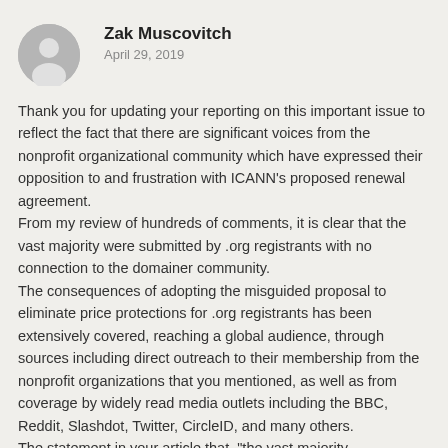[Figure (illustration): Circular avatar placeholder icon showing a generic person silhouette in gray]
Zak Muscovitch
April 29, 2019
Thank you for updating your reporting on this important issue to reflect the fact that there are significant voices from the nonprofit organizational community which have expressed their opposition to and frustration with ICANN’s proposed renewal agreement.
From my review of hundreds of comments, it is clear that the vast majority were submitted by .org registrants with no connection to the domainer community.
The consequences of adopting the misguided proposal to eliminate price protections for .org registrants has been extensively covered, reaching a global audience, through sources including direct outreach to their membership from the nonprofit organizations that you mentioned, as well as from coverage by widely read media outlets including the BBC, Reddit, Slashdot, Twitter, CircleID, and many others.
The statement in your article that, “the vast majority